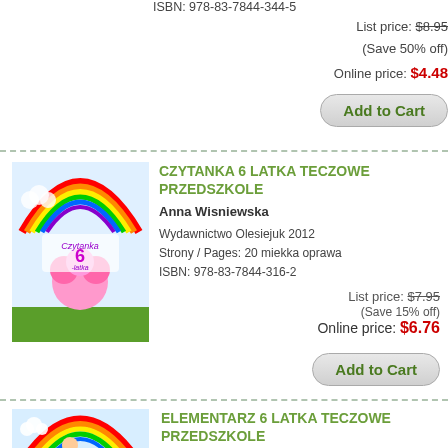ISBN: 978-83-7844-344-5
List price: $8.95
(Save 50% off)
Online price: $4.48
Add to Cart
[Figure (photo): Book cover for Czytanka 6 Latka Teczowe Przedszkole with rainbow and flower illustration]
CZYTANKA 6 LATKA TECZOWE PRZEDSZKOLE
Anna Wisniewska
Wydawnictwo Olesiejuk 2012
Strony / Pages: 20 miekka oprawa
ISBN: 978-83-7844-316-2
List price: $7.95
(Save 15% off)
Online price: $6.76
Add to Cart
[Figure (photo): Book cover for Elementarz 6 Latka Teczowe Przedszkole with rainbow illustration]
ELEMENTARZ 6 LATKA TECZOWE PRZEDSZKOLE